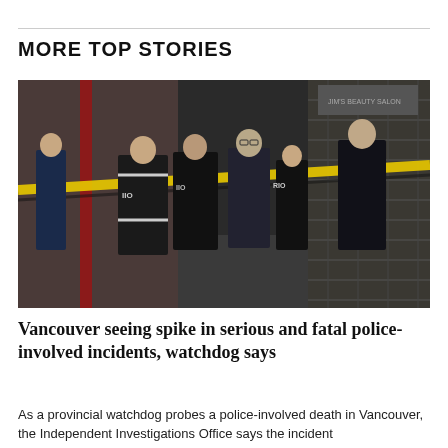MORE TOP STORIES
[Figure (photo): Several investigators in black IIO (Independent Investigations Office) jackets stand in a group on a sidewalk, with yellow police tape in the foreground. A red pole and shuttered storefront are visible in the background.]
Vancouver seeing spike in serious and fatal police-involved incidents, watchdog says
As a provincial watchdog probes a police-involved death in Vancouver, the Independent Investigations Office says the incident